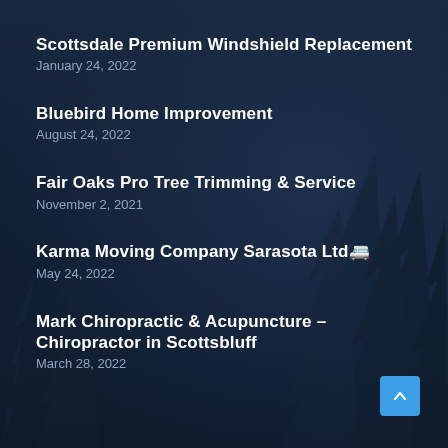[Figure (illustration): Dark navy blue background with silhouettes of pine/fir trees creating a forest scene, mist and gradient overlay giving depth]
Scottsdale Premium Windshield Replacement
January 24, 2022
Bluebird Home Improvement
August 24, 2022
Fair Oaks Pro Tree Trimming & Service
November 2, 2021
Karma Moving Company Sarasota Ltd🚐
May 24, 2022
Mark Chiropractic & Acupuncture – Chiropractor in Scottsbluff
March 28, 2022